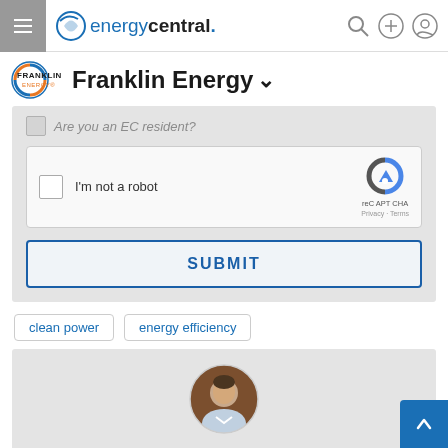energycentral. (navigation bar with hamburger menu, search, add, and account icons)
Franklin Energy ∨
[Figure (screenshot): reCAPTCHA widget with checkbox labeled 'I'm not a robot' and the reCAPTCHA logo with Privacy - Terms links]
[Figure (other): SUBMIT button]
clean power
energy efficiency
[Figure (photo): Circular profile photo of a young man in a suit, shown from shoulders up, with a blurred background]